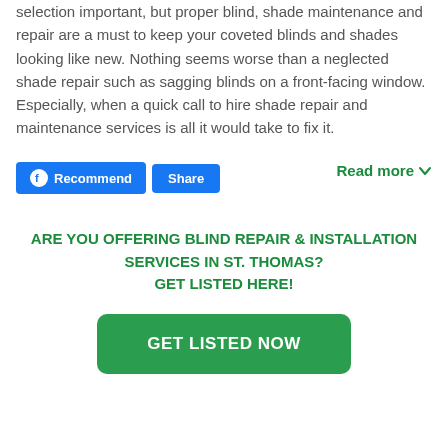selection important, but proper blind, shade maintenance and repair are a must to keep your coveted blinds and shades looking like new. Nothing seems worse than a neglected shade repair such as sagging blinds on a front-facing window. Especially, when a quick call to hire shade repair and maintenance services is all it would take to fix it.
Recommend | Share | Read more
ARE YOU OFFERING BLIND REPAIR & INSTALLATION SERVICES IN ST. THOMAS? GET LISTED HERE!
GET LISTED NOW